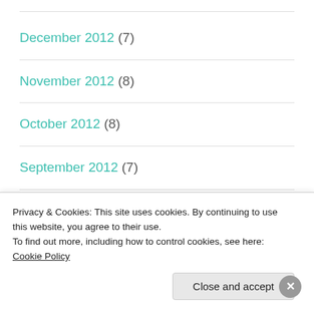December 2012 (7)
November 2012 (8)
October 2012 (8)
September 2012 (7)
August 2012 (11)
July 2012 (9)
Privacy & Cookies: This site uses cookies. By continuing to use this website, you agree to their use.
To find out more, including how to control cookies, see here: Cookie Policy
Close and accept